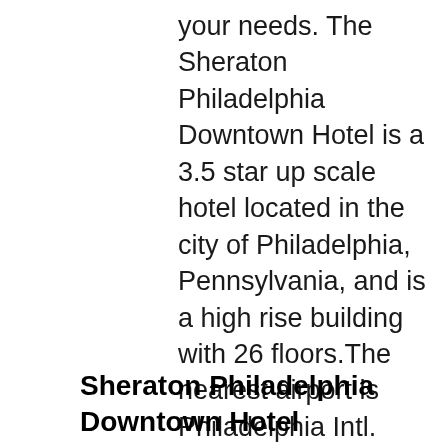your needs. The Sheraton Philadelphia Downtown Hotel is a 3.5 star up scale hotel located in the city of Philadelphia, Pennsylvania, and is a high rise building with 26 floors.The nearest airport is Philadelphia Intl. Airport (Airport Code: PHL), a distance of about 6.8 miles from the hotel. This hotel has a total of 757 guest rooms. Check in time is at 3 PM and check out time is 12 PM.
Sheraton Philadelphia Downtown Hotel Philadelphia